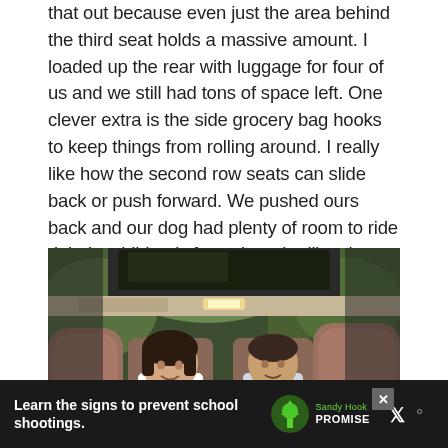that out because even just the area behind the third seat holds a massive amount. I loaded up the rear with luggage for four of us and we still had tons of space left. One clever extra is the side grocery bag hooks to keep things from rolling around. I really like how the second row seats can slide back or push forward. We pushed ours back and our dog had plenty of room to ride right by children's feet where he likes it best, as you can see in our Instagram post.
[Figure (photo): Photo of the interior of a minivan/SUV taken from the rear open hatch, showing two children sitting in second-row seats, a panoramic sunroof, and brown leather headrests in the foreground. Trees and green grass visible outside.]
Learn the signs to prevent school shootings.